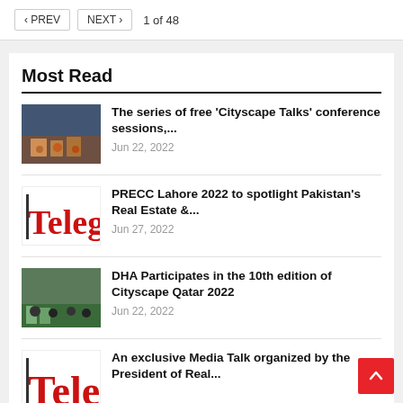< PREV  NEXT >  1 of 48
Most Read
The series of free 'Cityscape Talks' conference sessions,...
Jun 22, 2022
PRECC Lahore 2022 to spotlight Pakistan's Real Estate &...
Jun 27, 2022
DHA Participates in the 10th edition of Cityscape Qatar 2022
Jun 22, 2022
An exclusive Media Talk organized by the President of Real...